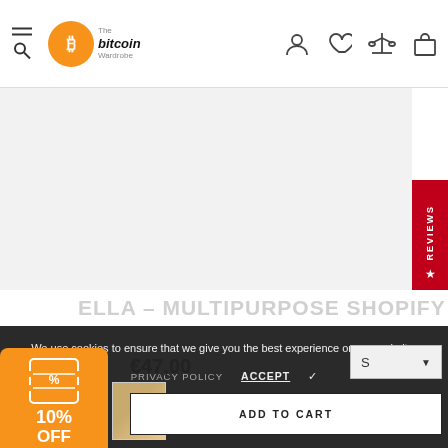The Bitcoin Wardrobe - navigation header with hamburger menu, search, logo, user, wishlist, compare, cart icons
[Figure (screenshot): Product image area - light gray background, product image placeholder]
REVIEWS
We use cookies to ensure that we give you the best experience on our website.
PRIVACY POLICY   ACCEPT ✓
ELLA – MULTIPURPOSE SHOPIFY
€47,00
S
ADD TO CART
10% OFF 14:58